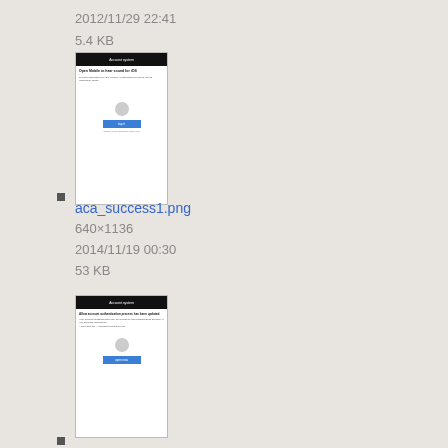2012/11/29 22:41
5.4 KB
[Figure (screenshot): Thumbnail screenshot of a mobile app screen for aca_success1.png]
aca_success1.png
640×1136
2014/11/19 00:30
53 KB
[Figure (screenshot): Thumbnail screenshot of a mobile app screen for aca_success2.png]
aca_success2.png
640×1136
2014/11/19 00:47
66.8 KB
[Figure (screenshot): Thumbnail screenshot of a mobile app screen (partial, bottom of page)]